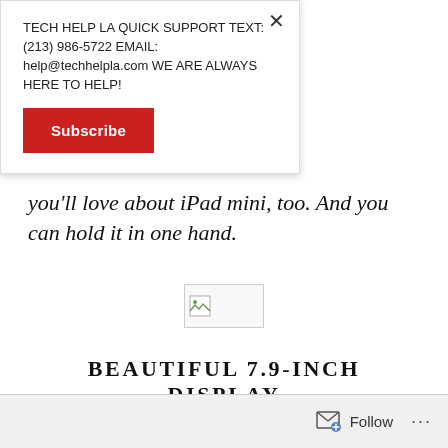TECH HELP LA QUICK SUPPORT TEXT: (213) 986-5722 EMAIL: help@techhelpla.com WE ARE ALWAYS HERE TO HELP!
Subscribe
you'll love about iPad mini, too. And you can hold it in one hand.
[Figure (other): Broken image placeholder icon]
BEAUTIFUL 7.9-INCH DISPLAY
Follow ...